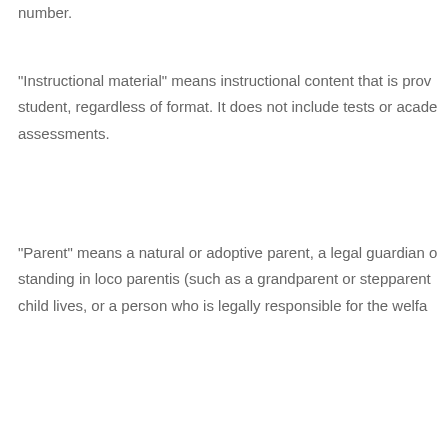student's or parent's name, address, telephone number, or social security number.
"Instructional material" means instructional content that is provided to a student, regardless of format. It does not include tests or academic assessments.
"Parent" means a natural or adoptive parent, a legal guardian or other person standing in loco parentis (such as a grandparent or stepparent with whom the child lives, or a person who is legally responsible for the welfare